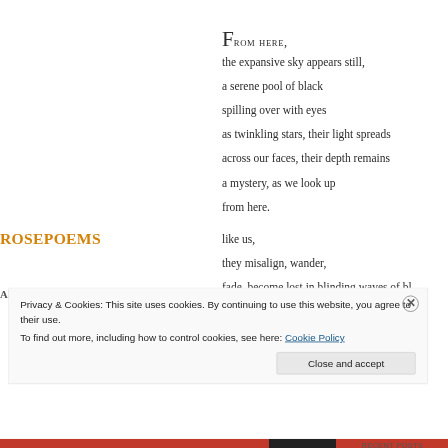From here,
the expansive sky appears still,
a serene pool of black
spilling over with eyes
as twinkling stars, their light spreads
across our faces, their depth remains
a mystery, as we look up
from here.

like us,
they misalign, wander,
fade, become lost in blinding waves of bl...
ROSEPOEMS
ABC
Privacy & Cookies: This site uses cookies. By continuing to use this website, you agree to their use.
To find out more, including how to control cookies, see here: Cookie Policy
Close and accept